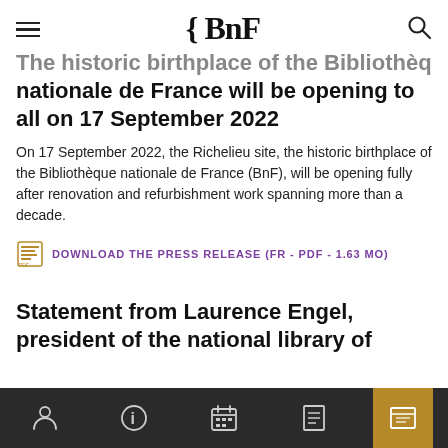{ BnF
The historic birthplace of the Bibliothèque nationale de France will be opening to all on 17 September 2022
On 17 September 2022, the Richelieu site, the historic birthplace of the Bibliothèque nationale de France (BnF), will be opening fully after renovation and refurbishment work spanning more than a decade.
DOWNLOAD THE PRESS RELEASE (FR - PDF - 1.63 MO)
Statement from Laurence Engel, president of the national library of France, in